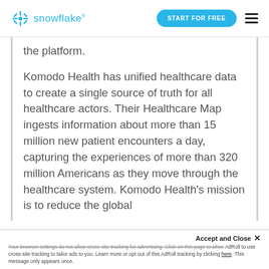snowflake | START FOR FREE
the platform.
Komodo Health has unified healthcare data to create a single source of truth for all healthcare actors. Their Healthcare Map ingests information about more than 15 million new patient encounters a day, capturing the experiences of more than 320 million Americans as they move through the healthcare system. Komodo Health's mission is to reduce the global
Accept and Close ✕
Your browser settings do not allow cross-site tracking for advertising. Click on this page to allow AdRoll to use cross-site tracking to tailor ads to you. Learn more or opt out of this AdRoll tracking by clicking here. This message only appears once.